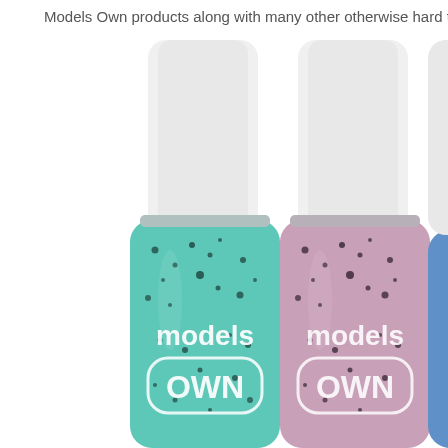Models Own products along with many other otherwise hard to get u…
[Figure (photo): Two Models Own nail polish bottles side by side. Left bottle is mint/teal green with black speckles, right bottle is pink/mauve with black speckles. Both display the 'models OWN' logo in white on the label. The bottles have white/clear caps. A third bottle is partially visible at the far right edge. The bottles appear to be part of a speckled/splatter effect nail polish collection.]